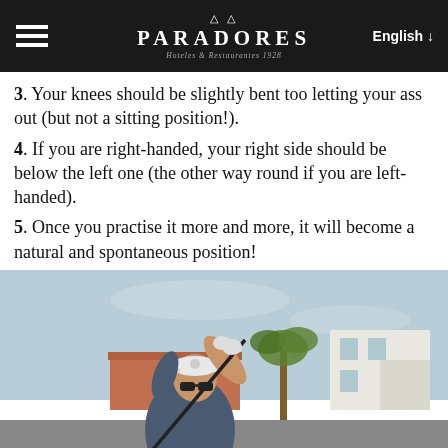PARADORES Hoteles & Restaurantes 1928 | English
3. Your knees should be slightly bent too letting your ass out (but not a sitting position!).
4. If you are right-handed, your right side should be below the left one (the other way round if you are left-handed).
5. Once you practise it more and more, it will become a natural and spontaneous position!
[Figure (photo): A golfer wearing a white cap and sunglasses, mid-swing with a golf club, outdoors with buildings and palm trees in the background.]